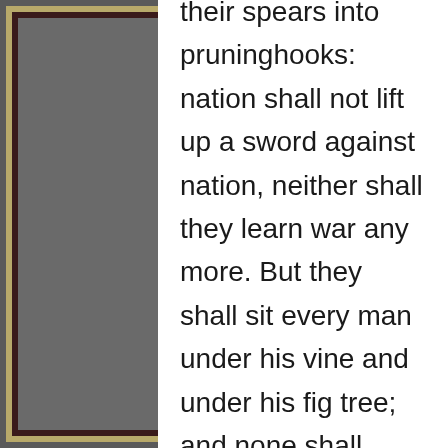their spears into pruninghooks: nation shall not lift up a sword against nation, neither shall they learn war any more. But they shall sit every man under his vine and under his fig tree; and none shall make them afraid: for the mouth of the LORD of hosts hath spoken it. For all people will